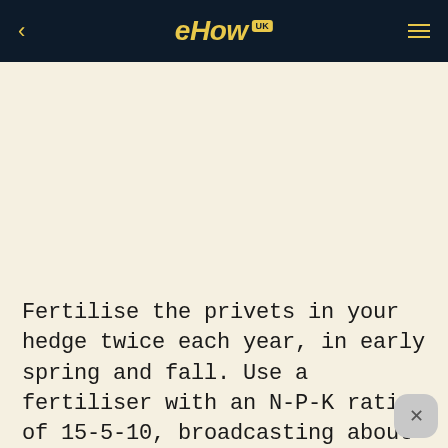eHow UK
Fertilise the privets in your hedge twice each year, in early spring and fall. Use a fertiliser with an N-P-K ratio of 15-5-10, broadcasting about 340gr of granular product for every 100 feet of planted row.